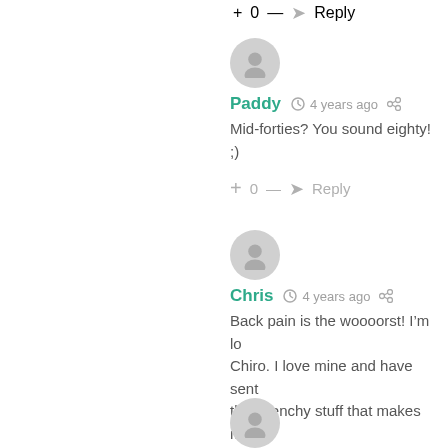+ 0 — Reply
Paddy  4 years ago
Mid-forties? You sound eighty! ;)
+ 0 — Reply
Chris  4 years ago
Back pain is the woooorst! I'm lo... Chiro. I love mine and have sent... the wrenchy stuff that makes me...
+ 0 — Reply
Kelly